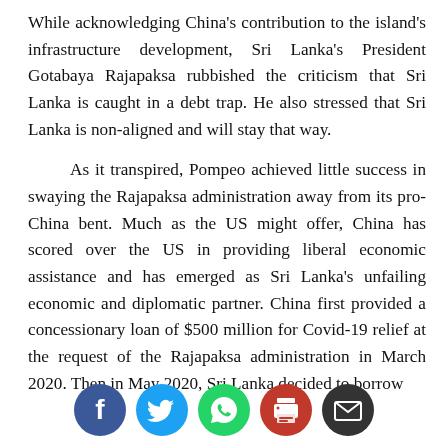While acknowledging China's contribution to the island's infrastructure development, Sri Lanka's President Gotabaya Rajapaksa rubbished the criticism that Sri Lanka is caught in a debt trap. He also stressed that Sri Lanka is non-aligned and will stay that way.
As it transpired, Pompeo achieved little success in swaying the Rajapaksa administration away from its pro-China bent. Much as the US might offer, China has scored over the US in providing liberal economic assistance and has emerged as Sri Lanka's unfailing economic and diplomatic partner. China first provided a concessionary loan of $500 million for Covid-19 relief at the request of the Rajapaksa administration in March 2020. Then in May 2020, Sri Lanka decided to borrow
[Figure (infographic): Social media sharing icons: Facebook (blue), Twitter (blue), WhatsApp (green), Print (red), Email (dark gray) — five circular icon buttons in a row]